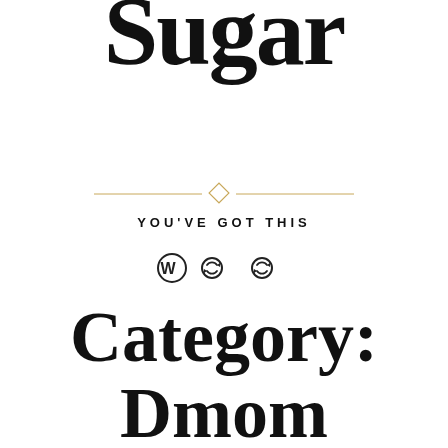Sugar
YOU'VE GOT THIS
Category: Dmom